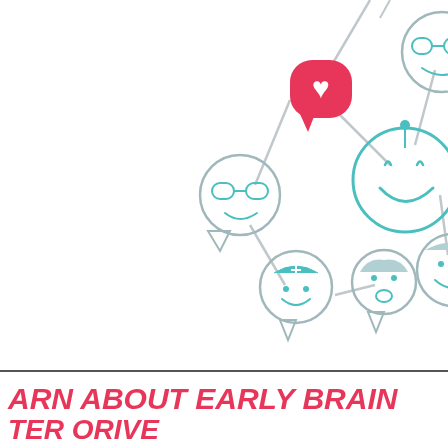[Figure (illustration): Network of cartoon face icons connected by lines — various characters including person with glasses, laughing face, nurse, person with open mouth, and others. A pink speech bubble with a heart icon is shown in the center. The figures are drawn in teal/turquoise and gray circular outlines, partially cropped at the right edge.]
ARN ABOUT EARLY BRAIN
TER ORIVE